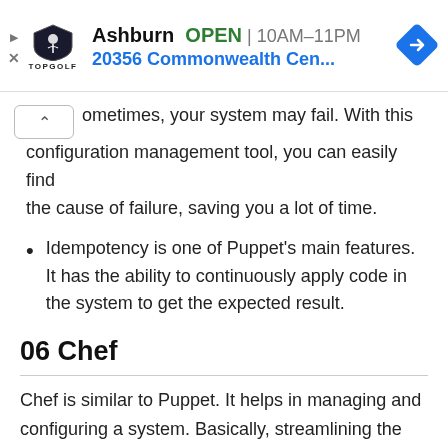[Figure (other): Topgolf advertisement banner showing Ashburn location OPEN 10AM-11PM at 20356 Commonwealth Cen... with logo and navigation icon]
ometimes, your system may fail. With this configuration management tool, you can easily find the cause of failure, saving you a lot of time.
Idempotency is one of Puppet's main features. It has the ability to continuously apply code in the system to get the expected result.
06 Chef
Chef is similar to Puppet. It helps in managing and configuring a system. Basically, streamlining the DevOps process to make everything easier is its primary